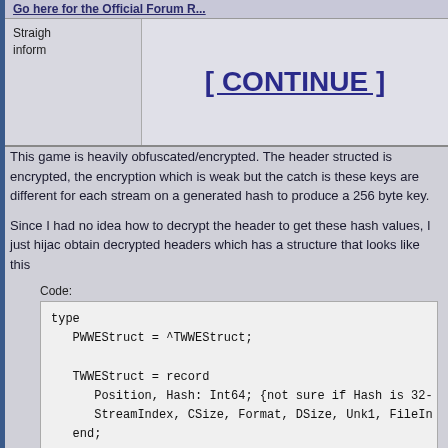Go here for the Official Forum R...
Straight... inform...
[ CONTINUE ]
This game is heavily obfuscated/encrypted. The header structed is encrypted, the encryption which is weak but the catch is these keys are different for each stream on a generated hash to produce a 256 byte key.
Since I had no idea how to decrypt the header to get these hash values, I just hijac obtain decrypted headers which has a structure that looks like this
Code:
[Figure (screenshot): Code block showing Pascal/Delphi type definition: type PWWEStruct = ^TWWEStruct; TWWEStruct = record Position, Hash: Int64; {not sure if Hash is 32-... StreamIndex, CSize, Format, DSize, Unk1, FileIn... end;]
As for compression that was used, they used Hydra which comes from oodle libra level 6. So if you plan on decompressing all the streams, it's important that you k streams can either be Kraken, Mermaid/Selkie or Leviathan in terms of their form directly by xtool properly if decompressed size is unknown)